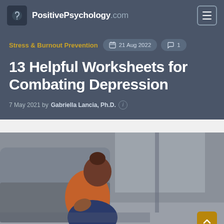PositivePsychology.com
Stress & Burnout Prevention
21 Aug 2022   1
13 Helpful Worksheets for Combating Depression
7 May 2021 by Gabriella Lancia, Ph.D.
[Figure (photo): A woman in an orange top sitting against a grey couch, hugging her knees, appearing depressed or distressed, seen from a side angle]